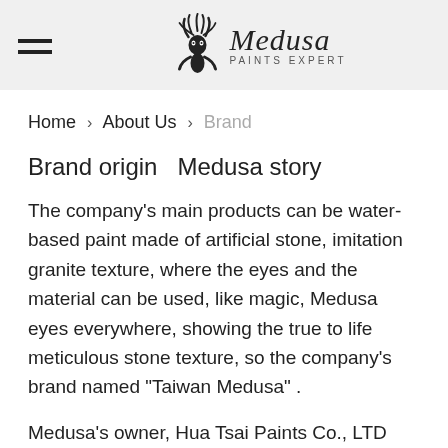Medusa PAINTS EXPERT
Home > About Us > Brand
Brand origin  Medusa story
The company's main products can be water-based paint made of artificial stone, imitation granite texture, where the eyes and the material can be used, like magic, Medusa eyes everywhere, showing the true to life meticulous stone texture, so the company's brand named "Taiwan Medusa" .
Medusa's owner, Hua Tsai Paints Co., LTD who is specialized in waterborne imitating stone paint and full series of inorganic waterproofing material. All of our